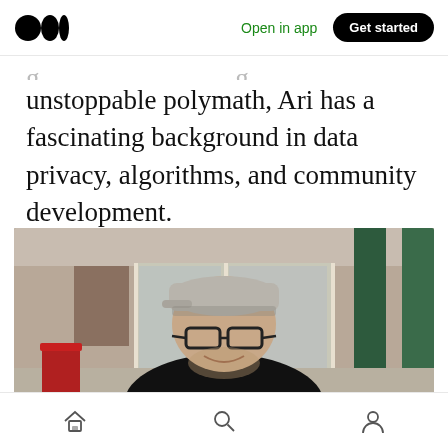Open in app | Get started
unstoppable polymath, Ari has a fascinating background in data privacy, algorithms, and community development.
[Figure (photo): A man wearing glasses and a grey baseball cap, smiling, wearing a black shirt. Background shows a building exterior with green pillars and glass doors. A red trash can is visible on the left.]